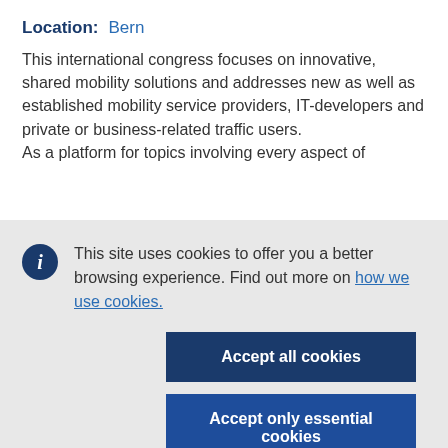Location: Bern
This international congress focuses on innovative, shared mobility solutions and addresses new as well as established mobility service providers, IT-developers and private or business-related traffic users.
As a platform for topics involving every aspect of
This site uses cookies to offer you a better browsing experience. Find out more on how we use cookies.
Accept all cookies
Accept only essential cookies